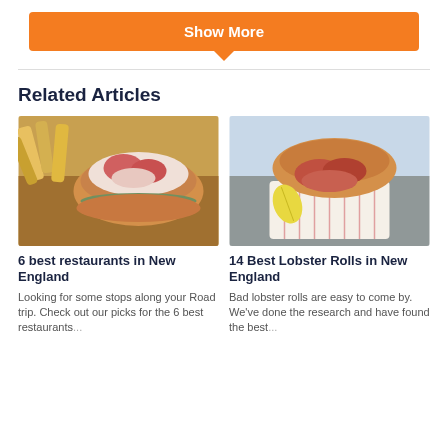Show More
Related Articles
[Figure (photo): A lobster roll sandwich with french fries on a plate]
6 best restaurants in New England
Looking for some stops along your Road trip. Check out our picks for the 6 best restaurants...
[Figure (photo): A lobster roll in a paper basket with lemon wedge on a wooden surface]
14 Best Lobster Rolls in New England
Bad lobster rolls are easy to come by. We've done the research and have found the best...